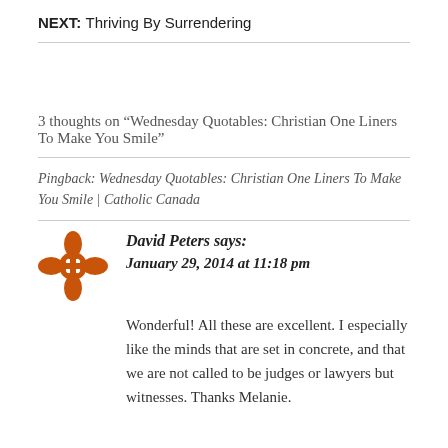NEXT: Thriving By Surrendering
3 thoughts on “Wednesday Quotables: Christian One Liners To Make You Smile”
Pingback: Wednesday Quotables: Christian One Liners To Make You Smile | Catholic Canada
David Peters says:
January 29, 2014 at 11:18 pm
Wonderful! All these are excellent. I especially like the minds that are set in concrete, and that we are not called to be judges or lawyers but witnesses. Thanks Melanie.